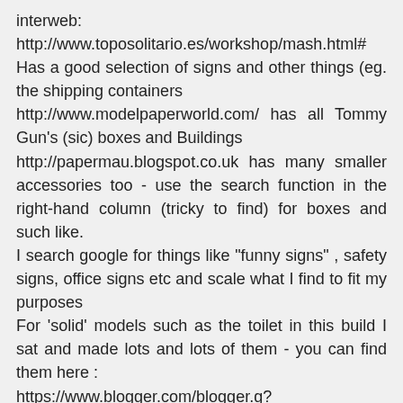interweb:
http://www.toposolitario.es/workshop/mash.html#
Has a good selection of signs and other things (eg. the shipping containers
http://www.modelpaperworld.com/ has all Tommy Gun's (sic) boxes and Buildings
http://papermau.blogspot.co.uk has many smaller accessories too - use the search function in the right-hand column (tricky to find) for boxes and such like.
I search google for things like "funny signs" , safety signs, office signs etc and scale what I find to fit my purposes
For 'solid' models such as the toilet in this build I sat and made lots and lots of them - you can find them here :
https://www.blogger.com/blogger.g?blogID=4776165776368681924#editor/target=post;postID=3422804681871750735;onPublishedMenu=allposts;onClosedMenu=allposts;postNum=135;src=postname
I did the same thing when I needed armchairs,